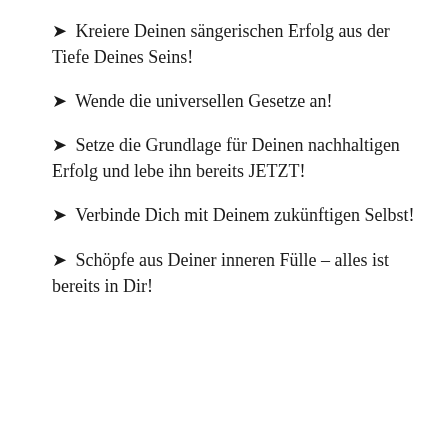➤ Kreiere Deinen sängerischen Erfolg aus der Tiefe Deines Seins!
➤ Wende die universellen Gesetze an!
➤ Setze die Grundlage für Deinen nachhaltigen Erfolg und lebe ihn bereits JETZT!
➤ Verbinde Dich mit Deinem zukünftigen Selbst!
➤ Schöpfe aus Deiner inneren Fülle – alles ist bereits in Dir!